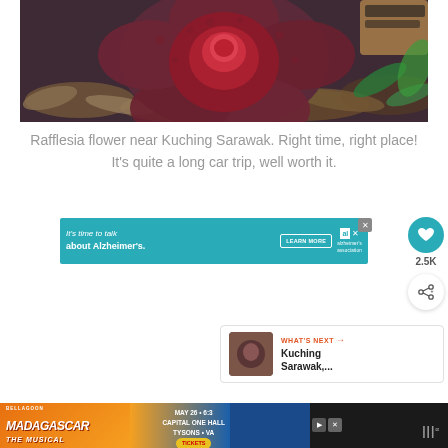[Figure (photo): Close-up photograph of a Rafflesia flower on the forest floor near Kuching Sarawak, showing the large dark red/purple parasitic bloom surrounded by dead leaves and forest debris, with a person's sandaled foot visible in the upper right corner.]
Rafflesia flower near Kuching Sarawak. Right time, right place! It's quite a long car trip, well worth it.
[Figure (screenshot): Teal advertisement banner: 'It's time to talk about Alzheimer's.' with a LEARN MORE button and Alzheimer's Association logo. Close button in top right. Heart/like button showing 2.5K count and share button on the right side.]
[Figure (screenshot): What's Next panel showing a thumbnail and text 'Kuching Sarawak,...']
[Figure (screenshot): Bottom advertisement bar for Madagascar The Musical: MAY 26 - 6:30, CAPITAL ONE HALL, TYSONS - VA, TICKETS. Dark bottom bar with wordmark logo.]